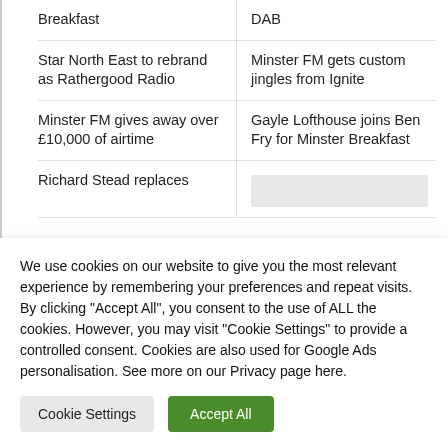Breakfast
DAB
Star North East to rebrand as Rathergood Radio
Minster FM gets custom jingles from Ignite
Minster FM gives away over £10,000 of airtime
Gayle Lofthouse joins Ben Fry for Minster Breakfast
Richard Stead replaces
We use cookies on our website to give you the most relevant experience by remembering your preferences and repeat visits. By clicking "Accept All", you consent to the use of ALL the cookies. However, you may visit "Cookie Settings" to provide a controlled consent. Cookies are also used for Google Ads personalisation. See more on our Privacy page here.